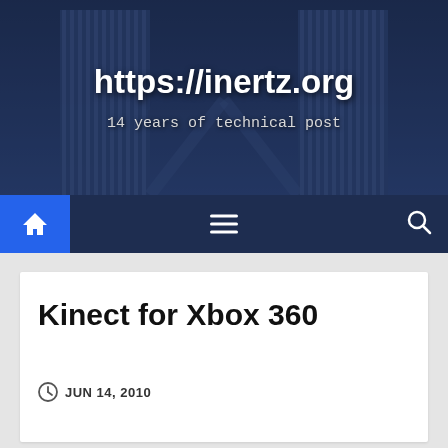[Figure (screenshot): Website header banner with Petronas Towers (twin towers) background photo, dark navy blue overlay]
https://inertz.org
14 years of technical post
[Figure (infographic): Navigation bar with home icon (blue background), hamburger menu icon, and search icon on dark navy background]
Kinect for Xbox 360
JUN 14, 2010